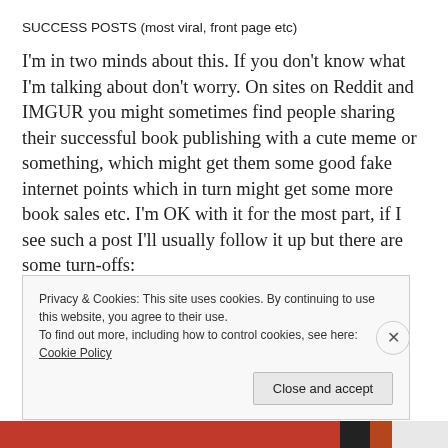SUCCESS POSTS (most viral, front page etc)
I'm in two minds about this. If you don't know what I'm talking about don't worry. On sites on Reddit and IMGUR you might sometimes find people sharing their successful book publishing with a cute meme or something, which might get them some good fake internet points which in turn might get some more book sales etc. I'm OK with it for the most part, if I see such a post I'll usually follow it up but there are some turn-offs:
Privacy & Cookies: This site uses cookies. By continuing to use this website, you agree to their use.
To find out more, including how to control cookies, see here: Cookie Policy
Close and accept